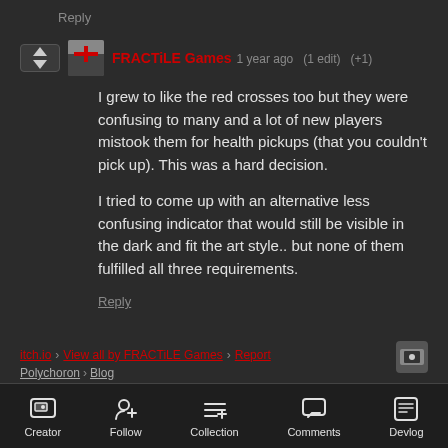Reply
FRACTILE Games  1 year ago  (1 edit)  (+1)
I grew to like the red crosses too but they were confusing to many and a lot of new players mistook them for health pickups (that you couldn't pick up). This was a hard decision.

I tried to come up with an alternative less confusing indicator that would still be visible in the dark and fit the art style.. but none of them fulfilled all three requirements.
Reply
itch.io · View all by FRACTILE Games · Report
Polychoron › Blog
Creator  Follow  Collection  Comments  Devlog